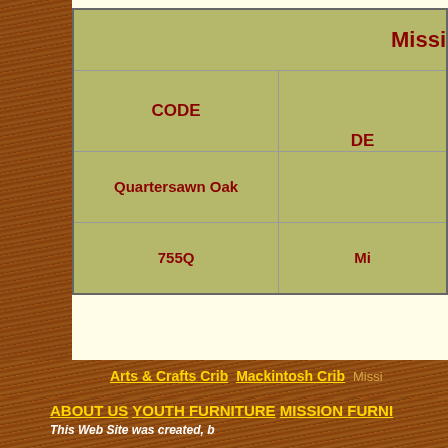| CODE | DE... |
| --- | --- |
| Quartersawn Oak |  |
| 755Q | Mi... |
Arts & Crafts Crib  Mackintosh Crib  Missi...
ABOUT US  YOUTH FURNITURE  MISSION FURNI...  This Web Site was created, b...